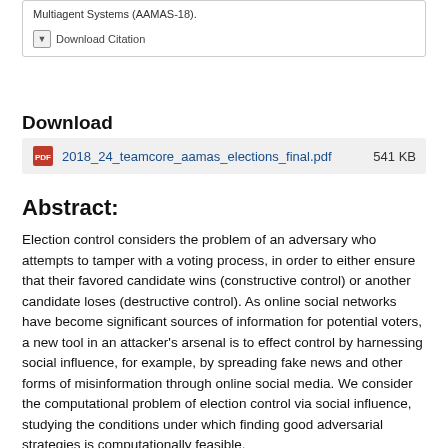Multiagent Systems (AAMAS-18).
Download Citation
Download
2018_24_teamcore_aamas_elections_final.pdf    541 KB
Abstract:
Election control considers the problem of an adversary who attempts to tamper with a voting process, in order to either ensure that their favored candidate wins (constructive control) or another candidate loses (destructive control). As online social networks have become significant sources of information for potential voters, a new tool in an attacker's arsenal is to effect control by harnessing social influence, for example, by spreading fake news and other forms of misinformation through online social media. We consider the computational problem of election control via social influence, studying the conditions under which finding good adversarial strategies is computationally feasible.